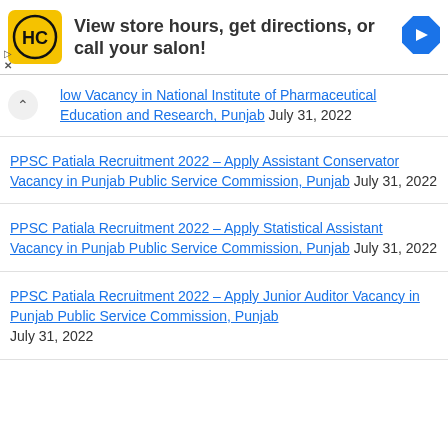[Figure (other): Advertisement banner for HC Salon with logo, text 'View store hours, get directions, or call your salon!' and navigation icon]
low Vacancy in National Institute of Pharmaceutical Education and Research, Punjab July 31, 2022
PPSC Patiala Recruitment 2022 – Apply Assistant Conservator Vacancy in Punjab Public Service Commission, Punjab July 31, 2022
PPSC Patiala Recruitment 2022 – Apply Statistical Assistant Vacancy in Punjab Public Service Commission, Punjab July 31, 2022
PPSC Patiala Recruitment 2022 – Apply Junior Auditor Vacancy in Punjab Public Service Commission, Punjab July 31, 2022